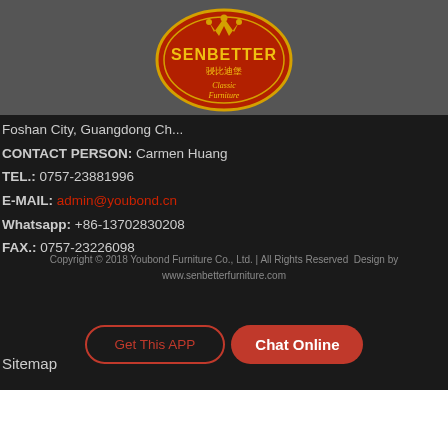[Figure (logo): Senbetter Classic Furniture oval logo with crown, red background, gold text]
Foshan City, Guangdong Ch...
CONTACT PERSON: Carmen Huang
TEL.: 0757-23881996
E-MAIL: admin@youbond.cn
Whatsapp: +86-13702830208
FAX.: 0757-23226098
Sitemap
Copyright © 2018 Youbond Furniture Co., Ltd. | All Rights Reserved  Design by www.senbetterfurniture.com
Get This APP
Chat Online